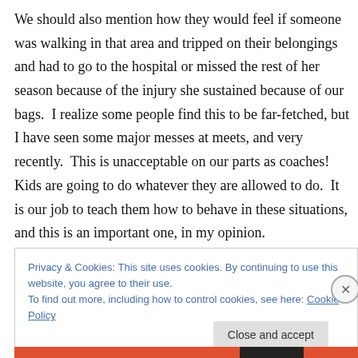We should also mention how they would feel if someone was walking in that area and tripped on their belongings and had to go to the hospital or missed the rest of her season because of the injury she sustained because of our bags.  I realize some people find this to be far-fetched, but I have seen some major messes at meets, and very recently.  This is unacceptable on our parts as coaches!  Kids are going to do whatever they are allowed to do.  It is our job to teach them how to behave in these situations, and this is an important one, in my opinion.
Privacy & Cookies: This site uses cookies. By continuing to use this website, you agree to their use.
To find out more, including how to control cookies, see here: Cookie Policy